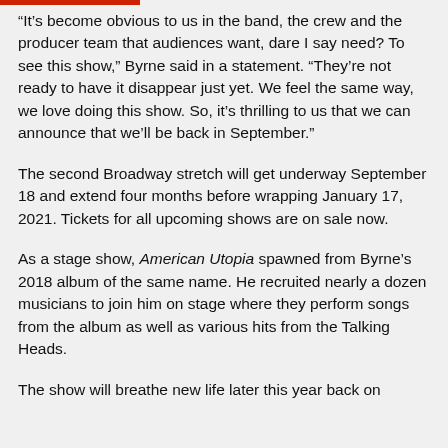“It’s become obvious to us in the band, the crew and the producer team that audiences want, dare I say need? To see this show,” Byrne said in a statement. “They’re not ready to have it disappear just yet. We feel the same way, we love doing this show. So, it’s thrilling to us that we can announce that we’ll be back in September.”
The second Broadway stretch will get underway September 18 and extend four months before wrapping January 17, 2021. Tickets for all upcoming shows are on sale now.
As a stage show, American Utopia spawned from Byrne’s 2018 album of the same name. He recruited nearly a dozen musicians to join him on stage where they perform songs from the album as well as various hits from the Talking Heads.
The show will breathe new life later this year back on